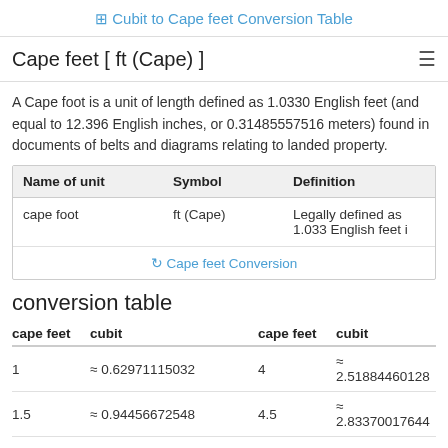Cubit to Cape feet Conversion Table
Cape feet [ ft (Cape) ]
A Cape foot is a unit of length defined as 1.0330 English feet (and equal to 12.396 English inches, or 0.31485557516 meters) found in documents of belts and diagrams relating to landed property.
| Name of unit | Symbol | Definition |
| --- | --- | --- |
| cape foot | ft (Cape) | Legally defined as 1.033 English feet i... |
|  | Cape feet Conversion |  |
conversion table
| cape feet | cubit | cape feet | cubit |
| --- | --- | --- | --- |
| 1 | ≈ 0.62971115032 | 4 | ≈ 2.51884460128 |
| 1.5 | ≈ 0.94456672548 | 4.5 | ≈ 2.83370017644 |